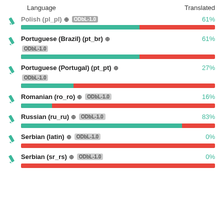| Language | Translated |
| --- | --- |
| Polish (pl_pl) ODbL-1.0 | 61% |
| Portuguese (Brazil) (pt_br) ODbL-1.0 | 61% |
| Portuguese (Portugal) (pt_pt) ODbL-1.0 | 27% |
| Romanian (ro_ro) ODbL-1.0 | 16% |
| Russian (ru_ru) ODbL-1.0 | 83% |
| Serbian (latin) ODbL-1.0 | 0% |
| Serbian (sr_rs) ODbL-1.0 | 0% |
[Figure (bar-chart): Translation progress by language]